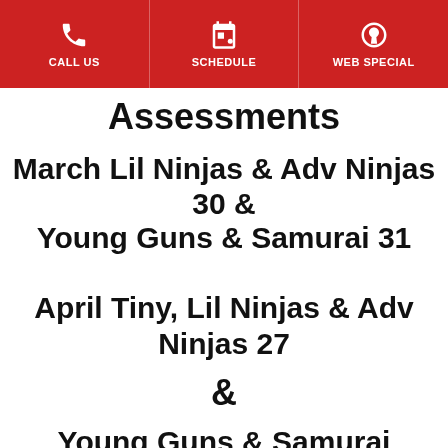CALL US | SCHEDULE | WEB SPECIAL
Assessments
March Lil Ninjas & Adv Ninjas 30 & Young Guns & Samurai 31
April Tiny, Lil Ninjas & Adv Ninjas 27
&
Young Guns & Samurai
28